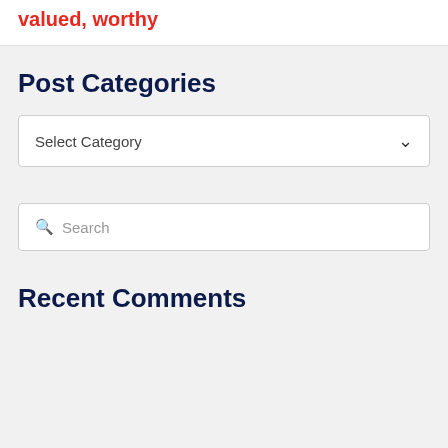valued, worthy
Post Categories
Select Category
Search
Recent Comments